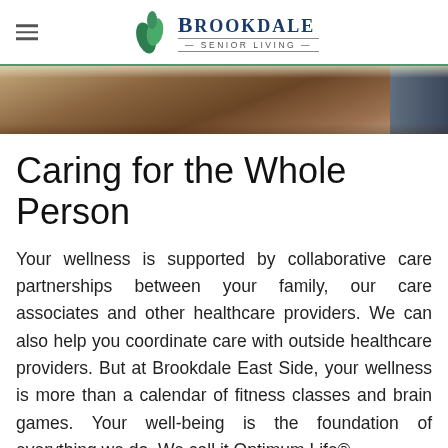Brookdale Senior Living
[Figure (photo): Hero banner photo strip showing a wooden countertop or furniture surface with a person in blue clothing partially visible on the right side.]
Caring for the Whole Person
Your wellness is supported by collaborative care partnerships between your family, our care associates and other healthcare providers. We can also help you coordinate care with outside healthcare providers. But at Brookdale East Side, your wellness is more than a calendar of fitness classes and brain games. Your well-being is the foundation of everything we do. We call it Optimum Life®,